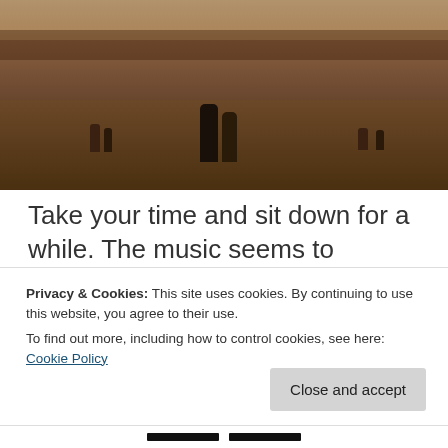[Figure (photo): Outdoor plaza scene at dusk/evening showing people walking on a large stone square, with two figures prominent in the center foreground]
Take your time and sit down for a while. The music seems to always be playing on Piazza Signoria – it's a paradise for street musicians. People from all over the world are busy drawing in their sketchbooks. Others are taking photos with every possible angle. However, no photo can truly depict what is laying out in front of you. You can
Privacy & Cookies: This site uses cookies. By continuing to use this website, you agree to their use.
To find out more, including how to control cookies, see here: Cookie Policy
Close and accept